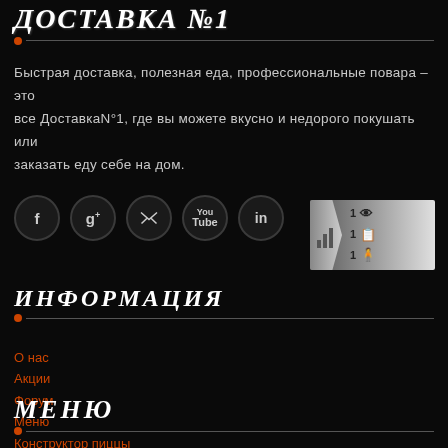ДОСТАВКА №1
Быстрая доставка, полезная еда, профессиональные повара – это все ДоставкаN°1, где вы можете вкусно и недорого покушать или заказать еду себе на дом.
[Figure (other): Social media icons: Facebook, Google+, Twitter, YouTube, LinkedIn circles on dark background, with a statistics widget showing bar chart arrow and view/comment/user counts]
ИНФОРМАЦИЯ
О нас
Акции
Форум
Меню
Конструктор пиццы
Для персонала
МЕНЮ